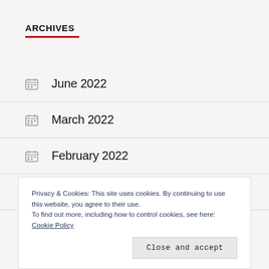ARCHIVES
June 2022
March 2022
February 2022
January 2022
Privacy & Cookies: This site uses cookies. By continuing to use this website, you agree to their use. To find out more, including how to control cookies, see here: Cookie Policy
Close and accept